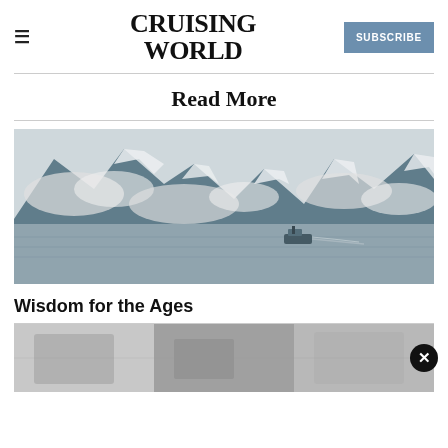CRUISING WORLD | SUBSCRIBE
Read More
[Figure (photo): A boat navigating calm water with dramatic snow-capped mountains and clouds in the background]
Wisdom for the Ages
[Figure (photo): Partial view of a second article image, appears to be an interior/equipment shot in grayscale]